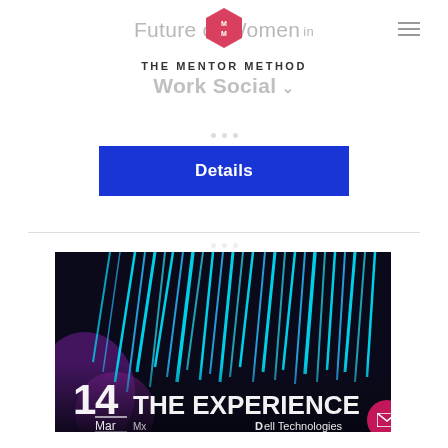Future of Women in Work Social
THE MENTOR METHOD
Details
[Figure (photo): Event promotional image showing neon blue and purple light installations (vertical rods of light) in a dark venue. Text overlay reads: 1 4 Mar THE EXPERIENCE Dell Technologies]